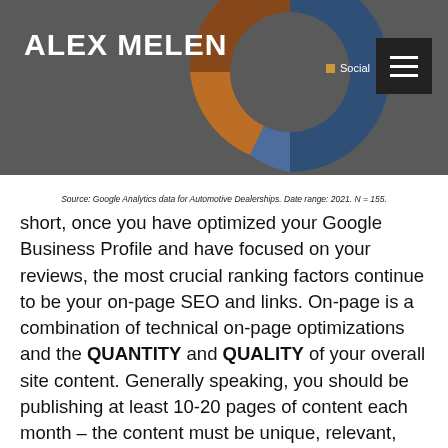ALEX MELEN
[Figure (donut-chart): Partial donut chart visible in header background with brown, blue, and orange segments]
Source: Google Analytics data for Automotive Dealerships. Date range: 2021. N = 155.
short, once you have optimized your Google Business Profile and have focused on your reviews, the most crucial ranking factors continue to be your on-page SEO and links. On-page is a combination of technical on-page optimizations and the QUANTITY and QUALITY of your overall site content. Generally speaking, you should be publishing at least 10-20 pages of content each month – the content must be unique, relevant, and attract the right kind of traffic. For example, a page about how to configure your car clock might be unique and relevant but might not be attracting sales traffic. The second part is perhaps the most overlooked – LINK